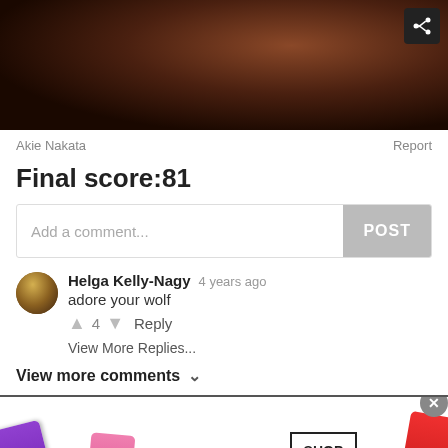[Figure (photo): Dark brown animal (wolf/bear) close-up photo header with share button overlay]
Akie Nakata
Report
Final score:81
Add a comment...
POST
Helga Kelly-Nagy  4 years ago
adore your wolf
▲  4  ▼  Reply
View More Replies...
View more comments ∨
[Figure (photo): MAC Cosmetics advertisement with lipsticks and SHOP NOW button]